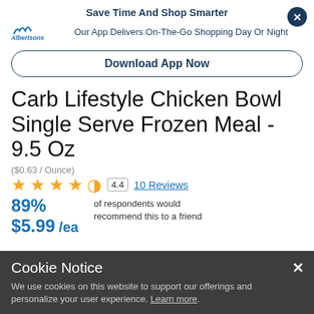Save Time And Shop Smarter
Our App Delivers On-The-Go Shopping Day Or Night
Download App Now
Carb Lifestyle Chicken Bowl Single Serve Frozen Meal - 9.5 Oz
($0.63 / Ounce)
4.4  10 Reviews
89% of respondents would recommend this to a friend
$5.99 / ea
Cookie Notice
We use cookies on this website to support our offerings and personalize your user experience. Learn more.